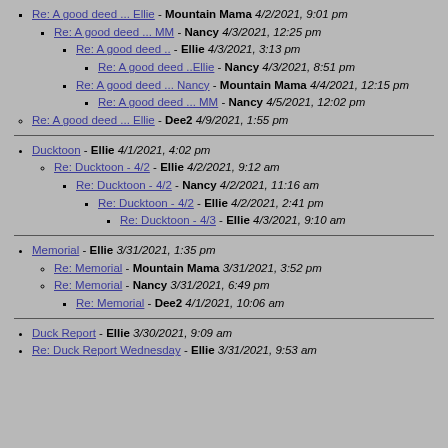Re: A good deed ... Ellie - Mountain Mama 4/2/2021, 9:01 pm
Re: A good deed ... MM - Nancy 4/3/2021, 12:25 pm
Re: A good deed .. - Ellie 4/3/2021, 3:13 pm
Re: A good deed ..Ellie - Nancy 4/3/2021, 8:51 pm
Re: A good deed ... Nancy - Mountain Mama 4/4/2021, 12:15 pm
Re: A good deed ... MM - Nancy 4/5/2021, 12:02 pm
Re: A good deed ... Ellie - Dee2 4/9/2021, 1:55 pm
Ducktoon - Ellie 4/1/2021, 4:02 pm
Re: Ducktoon - 4/2 - Ellie 4/2/2021, 9:12 am
Re: Ducktoon - 4/2 - Nancy 4/2/2021, 11:16 am
Re: Ducktoon - 4/2 - Ellie 4/2/2021, 2:41 pm
Re: Ducktoon - 4/3 - Ellie 4/3/2021, 9:10 am
Memorial - Ellie 3/31/2021, 1:35 pm
Re: Memorial - Mountain Mama 3/31/2021, 3:52 pm
Re: Memorial - Nancy 3/31/2021, 6:49 pm
Re: Memorial - Dee2 4/1/2021, 10:06 am
Duck Report - Ellie 3/30/2021, 9:09 am
Re: Duck Report Wednesday - Ellie 3/31/2021, 9:53 am